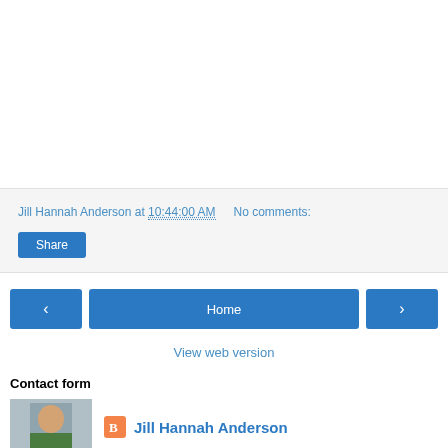Jill Hannah Anderson at 10:44:00 AM   No comments:
Share
[Figure (screenshot): Navigation buttons: left arrow, Home, right arrow]
View web version
Contact form
Jill Hannah Anderson
[Figure (photo): Author photo of Jill Hannah Anderson]